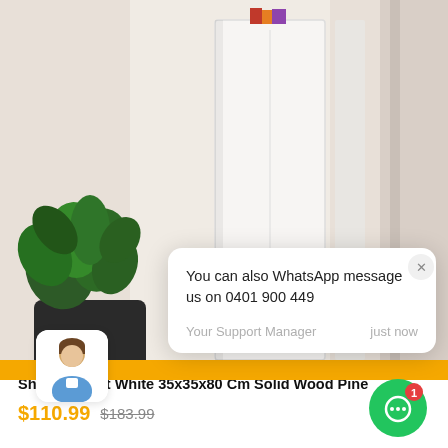[Figure (photo): Product photo of a white tall shoe cabinet next to a potted green plant against a light beige wall]
You can also WhatsApp message us on 0401 900 449
Your Support Manager   just now
Shoe Cabinet White 35x35x80 Cm Solid Wood Pine
$110.99  $183.99